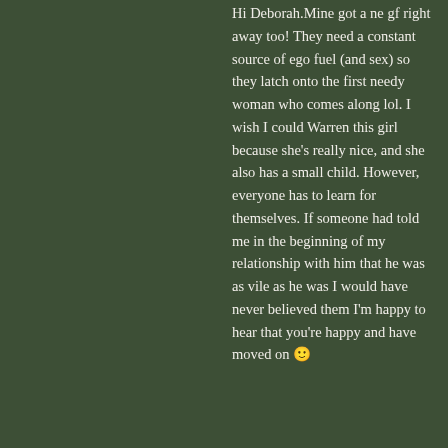Hi Deborah.Mine got a ne gf right away too! They need a constant source of ego fuel (and sex) so they latch onto the first needy woman who comes along lol. I wish I could Warren this girl because she's really nice, and she also has a small child. However, everyone has to learn for themselves. If someone had told me in the beginning of my relationship with him that he was as vile as he was I would have never believed them I'm happy to hear that you're happy and have moved on 🙂
★ Like
[Figure (other): Avatar image for commenter So Confused - decorative tile pattern in yellow/green/white]
So Confused
OCTOBER 7, 2017 AT 6:07 PM
You have definitely hit the nail on the head on this article!! I have never dealt with a man that is so damned FLIGHTY AND INCONSISTENT!! I am a SCORPIO and I don't